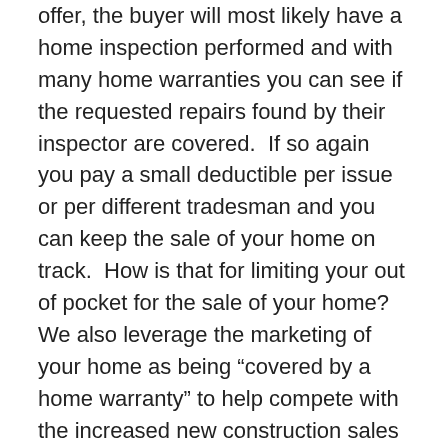offer, the buyer will most likely have a home inspection performed and with many home warranties you can see if the requested repairs found by their inspector are covered.  If so again you pay a small deductible per issue or per different tradesman and you can keep the sale of your home on track.  How is that for limiting your out of pocket for the sale of your home?  We also leverage the marketing of your home as being “covered by a home warranty” to help compete with the increased new construction sales that are in our marketplace this year (20% of the SOLDS on 2013 are  new construction).
Buyers also have the benefit of The Grumbles Team